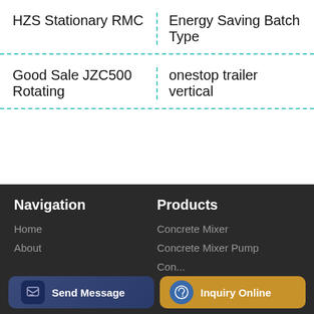HZS Stationary RMC
Energy Saving Batch Type
Good Sale JZC500 Rotating
onestop trailer vertical
Navigation
Products
Home
About
Concrete Mixer
Concrete Mixer Pump
Con...
Send Message
Inquiry Online